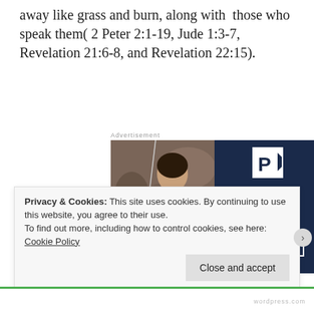away like grass and burn, along with  those who speak them( 2 Peter 2:1-19, Jude 1:3-7, Revelation 21:6-8, and Revelation 22:15).
[Figure (illustration): WordPress hosting advertisement showing a woman holding an OPEN sign on the left half (photo), and on the right half a dark navy background with a P logo and text: WORDPRESS HOSTING THAT MEANS BUSINESS. with a LEARN MORE button.]
Privacy & Cookies: This site uses cookies. By continuing to use this website, you agree to their use.
To find out more, including how to control cookies, see here: Cookie Policy
Close and accept